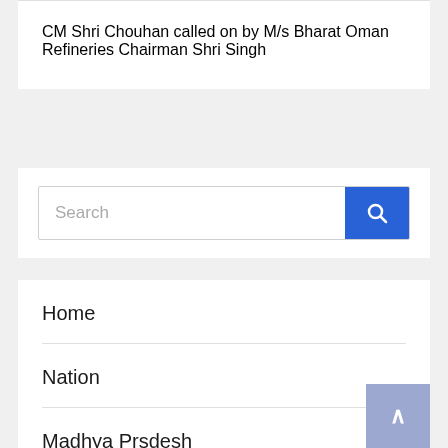CM Shri Chouhan called on by M/s Bharat Oman Refineries Chairman Shri Singh
[Figure (screenshot): Search bar with text input placeholder 'Search' and a blue search button with magnifying glass icon]
Home
Nation
Madhya Prsdesh
Chhattisgarh